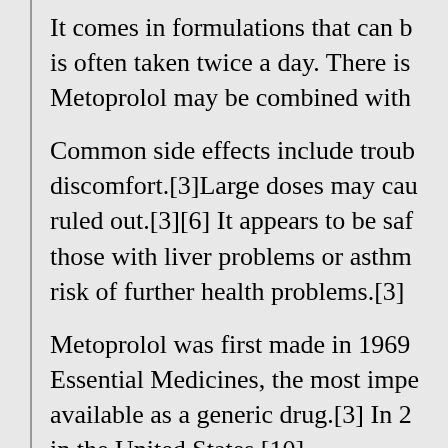It comes in formulations that can b is often taken twice a day. There is Metoprolol may be combined with
Common side effects include troub discomfort.[3]Large doses may cau ruled out.[3][6] It appears to be saf those with liver problems or asthm risk of further health problems.[3]
Metoprolol was first made in 1969 Essential Medicines, the most impe available as a generic drug.[3] In 2 in the United States.[10]
Miconazole Nitrate □□□